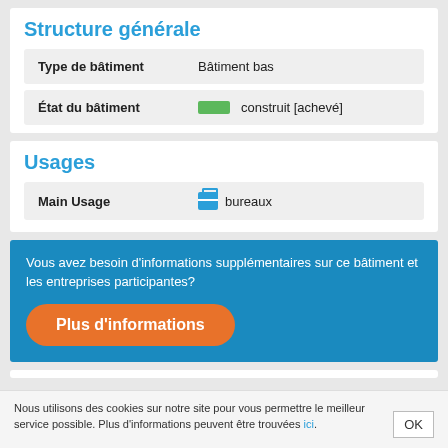Structure générale
| Field | Value |
| --- | --- |
| Type de bâtiment | Bâtiment bas |
| État du bâtiment | construit [achevé] |
Usages
| Field | Value |
| --- | --- |
| Main Usage | bureaux |
Vous avez besoin d'informations supplémentaires sur ce bâtiment et les entreprises participantes?
Plus d'informations
Nous utilisons des cookies sur notre site pour vous permettre le meilleur service possible. Plus d'informations peuvent être trouvées ici.